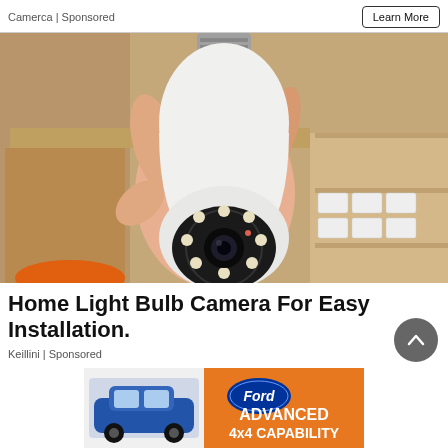Camerca | Sponsored
[Figure (photo): A hand holding a white light bulb security camera with LED night vision ring and rotating dome head, shown against a beige shelving background.]
Home Light Bulb Camera For Easy Installation.
Keillini | Sponsored
[Figure (photo): Ford advertisement banner showing a blue Ford Bronco Sport SUV on the left and orange background with text 'ADVANCED 4x4 CAPABILITY' and the Ford logo.]